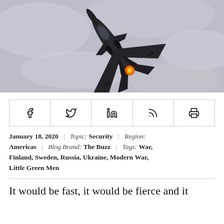[Figure (photo): Aerial view of a dark military stealth fighter jet (F-35) banking steeply, shot from below against a pale cloudy sky, with afterburner glowing orange.]
Facebook | Twitter | LinkedIn | RSS | Print (share bar icons)
January 18, 2020 | Topic: Security | Region: Americas | Blog Brand: The Buzz | Tags: War, Finland, Sweden, Russia, Ukraine, Modern War, Little Green Men
It would be fast, it would be fierce and it